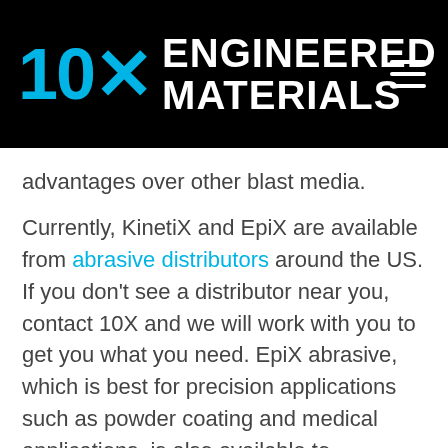[Figure (logo): 10X Engineered Materials logo with blue '10X' text and white 'ENGINEERED MATERIALS' text on black background, with hamburger menu icon on the right]
advantages over other blast media.

Currently, KinetiX and EpiX are available from abrasive distributors around the US. If you don't see a distributor near you, contact 10X and we will work with you to get you what you need. EpiX abrasive, which is best for precision applications such as powder coating and medical applications, is also available to purchase directly from the 10X Engineered Materials website.